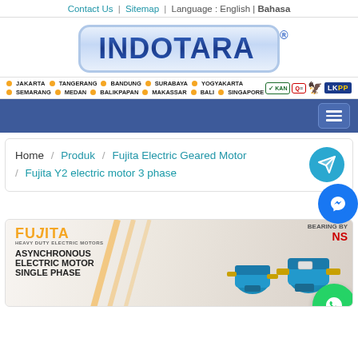Contact Us | Sitemap | Language : English | Bahasa
[Figure (logo): INDOTARA logo with registered trademark symbol in blue gradient rounded rectangle border]
JAKARTA • TANGERANG • BANDUNG • SURABAYA • YOGYAKARTA • SEMARANG • MEDAN • BALIKPAPAN • MAKASSAR • BALI • SINGAPORE
[Figure (other): Navigation bar with hamburger menu icon on dark blue background]
Home / Produk / Fujita Electric Geared Motor / Fujita Y2 electric motor 3 phase
[Figure (photo): Fujita Heavy Duty Electric Motors product image showing blue electric motors with text ASYNCHRONOUS ELECTRIC MOTOR SINGLE PHASE and BEARING BY NSK]